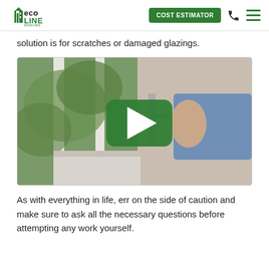ECO LINE WINDOWS — COST ESTIMATOR
solution is for scratches or damaged glazings.
[Figure (screenshot): Video thumbnail showing a person's hand adjusting a white window latch/lock mechanism, with a green trees visible outside the window. A large green play button is overlaid in the center of the image.]
As with everything in life, err on the side of caution and make sure to ask all the necessary questions before attempting any work yourself.